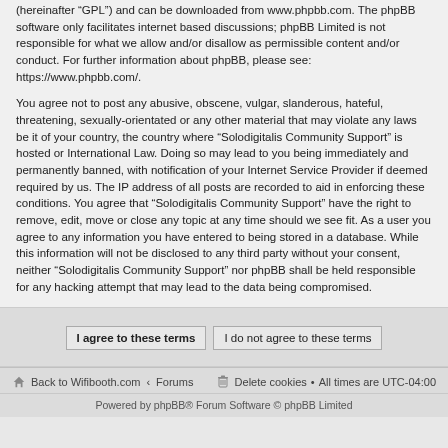(hereinafter "GPL") and can be downloaded from www.phpbb.com. The phpBB software only facilitates internet based discussions; phpBB Limited is not responsible for what we allow and/or disallow as permissible content and/or conduct. For further information about phpBB, please see: https://www.phpbb.com/.
You agree not to post any abusive, obscene, vulgar, slanderous, hateful, threatening, sexually-orientated or any other material that may violate any laws be it of your country, the country where “Solodigitalis Community Support” is hosted or International Law. Doing so may lead to you being immediately and permanently banned, with notification of your Internet Service Provider if deemed required by us. The IP address of all posts are recorded to aid in enforcing these conditions. You agree that “Solodigitalis Community Support” have the right to remove, edit, move or close any topic at any time should we see fit. As a user you agree to any information you have entered to being stored in a database. While this information will not be disclosed to any third party without your consent, neither “Solodigitalis Community Support” nor phpBB shall be held responsible for any hacking attempt that may lead to the data being compromised.
I agree to these terms | I do not agree to these terms
Back to Wifibooth.com ‹ Forums • Delete cookies • All times are UTC-04:00
Powered by phpBB® Forum Software © phpBB Limited